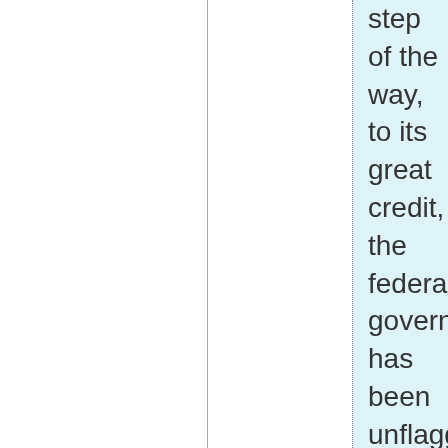step of the way, to its great credit, the federal government has been unflagging in its resolve to make Tsarnaev pay the ultimate price